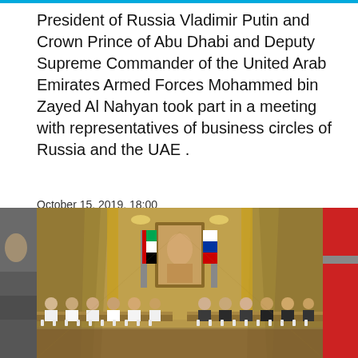President of Russia Vladimir Putin and Crown Prince of Abu Dhabi and Deputy Supreme Commander of the United Arab Emirates Armed Forces Mohammed bin Zayed Al Nahyan took part in a meeting with representatives of business circles of Russia and the UAE .
October 15, 2019, 18:00
Abu Dhabi
[Figure (photo): A formal meeting room in Abu Dhabi with two long conference tables facing each other. UAE delegates in traditional white dress sit on the left, Russian delegates in suits on the right. In the background, UAE and Russian flags flank a large portrait painting, under ornate gold curtains and chandeliers.]